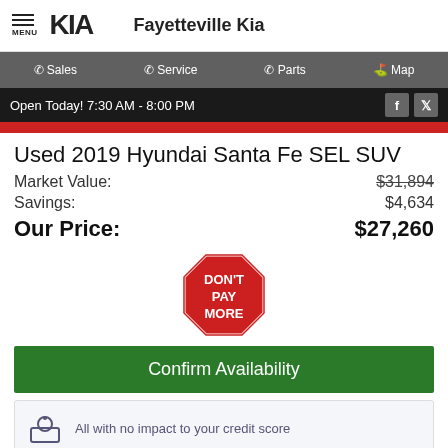MENU | KIA | Fayetteville Kia
Sales | Service | Parts | Map
Open Today! 7:30 AM - 8:00 PM
Used 2019 Hyundai Santa Fe SEL SUV
Market Value: $31,894
Savings: $4,634
Our Price: $27,260
[Figure (illustration): Red octagon stop-sign badge with white text DON'T PAY MORE]
Confirm Availability
All with no impact to your credit score